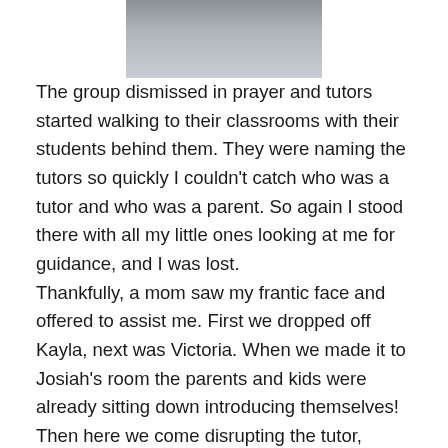[Figure (photo): Partial photo showing what appears to be a table or outdoor surface with small objects on it, cropped at the top of the page]
The group dismissed in prayer and tutors started walking to their classrooms with their students behind them. They were naming the tutors so quickly I couldn't catch who was a tutor and who was a parent. So again I stood there with all my little ones looking at me for guidance, and I was lost.
Thankfully, a mom saw my frantic face and offered to assist me. First we dropped off Kayla, next was Victoria. When we made it to Josiah's room the parents and kids were already sitting down introducing themselves! Then here we come disrupting the tutor, walking in a few minutes late! I encouraged Josiah to take a seat so I could go talk to his sister, but he wouldn't let go of me! He had a grip on me like an alligator on a hippo in the Savannah! So